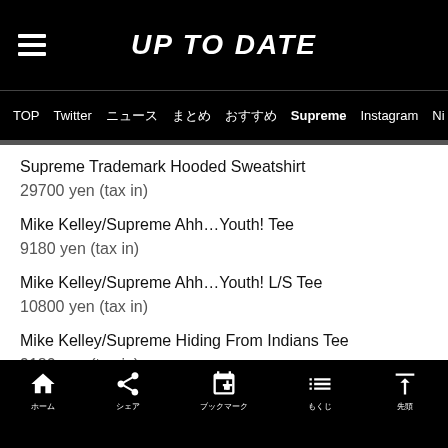UP TO DATE
TOP  Twitter  ニュース  まとめ  おすすめ  Supreme  Instagram  Ni
Supreme Trademark Hooded Sweatshirt
29700 yen (tax in)
Mike Kelley/Supreme Ahh...Youth! Tee
9180 yen (tax in)
Mike Kelley/Supreme Ahh...Youth! L/S Tee
10800 yen (tax in)
Mike Kelley/Supreme Hiding From Indians Tee
9180 yen (tax in)
ホーム  シェア  ブックマーク  もくじ  先頭